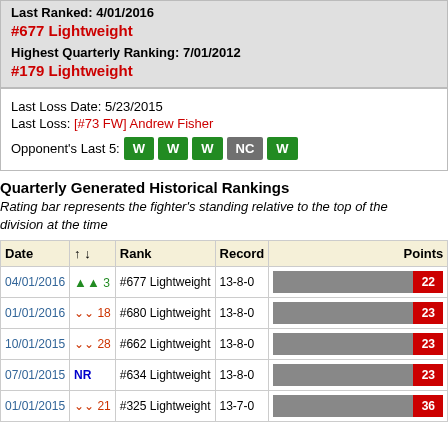Last Ranked: 4/01/2016
#677 Lightweight
Highest Quarterly Ranking: 7/01/2012
#179 Lightweight
Last Loss Date: 5/23/2015
Last Loss: [#73 FW] Andrew Fisher
Opponent's Last 5: W W W NC W
Quarterly Generated Historical Rankings
Rating bar represents the fighter's standing relative to the top of the division at the time
| Date | ↑↓ | Rank | Record | Points |
| --- | --- | --- | --- | --- |
| 04/01/2016 | ▲ 3 | #677 Lightweight | 13-8-0 | 22 |
| 01/01/2016 | ▼18 | #680 Lightweight | 13-8-0 | 23 |
| 10/01/2015 | ▼28 | #662 Lightweight | 13-8-0 | 23 |
| 07/01/2015 | NR | #634 Lightweight | 13-8-0 | 23 |
| 01/01/2015 | ▼21 | #325 Lightweight | 13-7-0 | 36 |